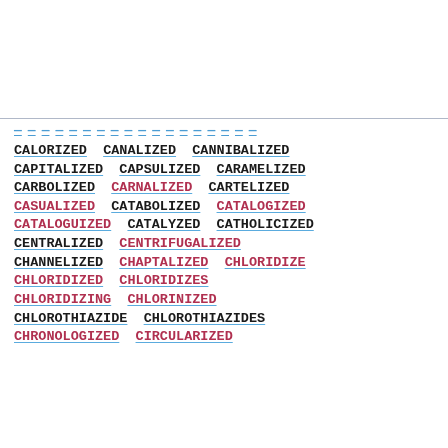— — — — — — — — — — — — — — — — — —
CALORIZED CANALIZED CANNIBALIZED
CAPITALIZED CAPSULIZED CARAMELIZED
CARBOLIZED CARNALIZED CARTELIZED
CASUALIZED CATABOLIZED CATALOGIZED
CATALOGUIZED CATALYZED CATHOLICIZED
CENTRALIZED CENTRIFUGALIZED
CHANNELIZED CHAPTALIZED CHLORIDIZE
CHLORIDIZED CHLORIDIZES
CHLORIDIZING CHLORINIZED
CHLOROTHIAZIDE CHLOROTHIAZIDES
CHRONOLOGIZED CIRCULARIZED